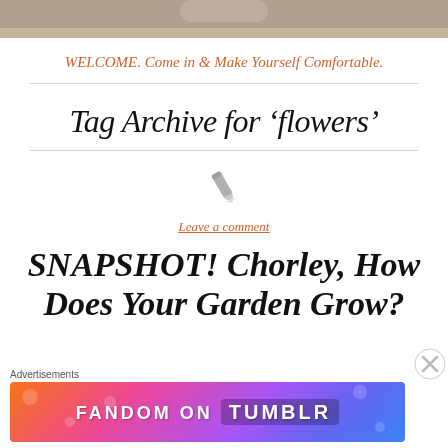[Figure (photo): Top portion of a webpage showing a room interior image cropped at the top]
WELCOME. Come in & Make Yourself Comfortable.
Tag Archive for ‘flowers’
[Figure (illustration): Pencil/edit icon in gray]
Leave a comment
SNAPSHOT! Chorley, How Does Your Garden Grow?
[Figure (illustration): Fandom on Tumblr advertisement banner with colorful gradient background]
Advertisements